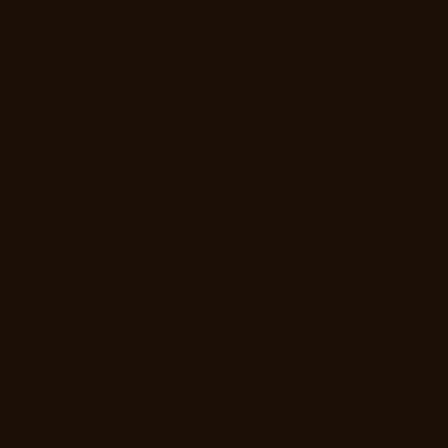7.1.6: Phase Four
Phase Four is an entirely new health, as in normal mode. Ho have to fight him once more.
At the start of the phase, Ragn be killed. During this phase, yo in Phase Three.
Ragnaros has the following ab
Dreadflame is essentially t locations on the platform. until it covers the entirety o players affected by Deluge
Empower Sulfuras is an ab This ability allows him to i the entire raid. During this (covered below).
Superheated is a stacking duration of the phase. Eac damage taken by 10%. Th below).
Magma Geyser is an abilit